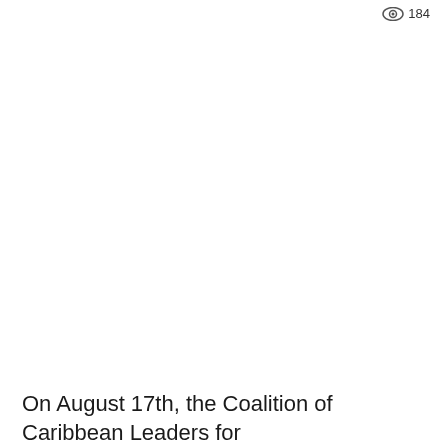184
On August 17th, the Coalition of Caribbean Leaders for